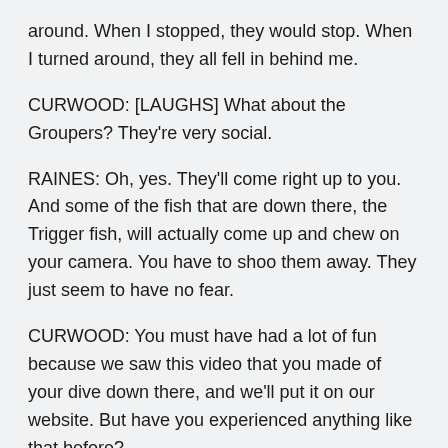around. When I stopped, they would stop. When I turned around, they all fell in behind me.
CURWOOD: [LAUGHS] What about the Groupers? They're very social.
RAINES: Oh, yes. They'll come right up to you. And some of the fish that are down there, the Trigger fish, will actually come up and chew on your camera. You have to shoo them away. They just seem to have no fear.
CURWOOD: You must have had a lot of fun because we saw this video that you made of your dive down there, and we'll put it on our website. But have you experienced anything like that before?
RAINES: You know, I never had. I've been diving for some time, and from the moment I hit the bottom and saw the stumps, it was just exhilarating. You knew you